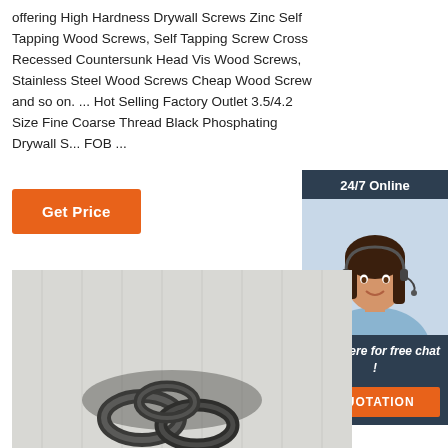offering High Hardness Drywall Screws Zinc Self Tapping Wood Screws, Self Tapping Screw Cross Recessed Countersunk Head Vis Wood Screws, Stainless Steel Wood Screws Cheap Wood Screw and so on. ... Hot Selling Factory Outlet 3.5/4.2 Size Fine Coarse Thread Black Phosphating Drywall S... FOB ...
[Figure (other): Orange 'Get Price' button]
[Figure (infographic): 24/7 Online chat widget with photo of woman wearing headset, 'Click here for free chat!' text, and orange QUOTATION button]
[Figure (photo): Product photo showing dark metal screws or rings on a light gray background]